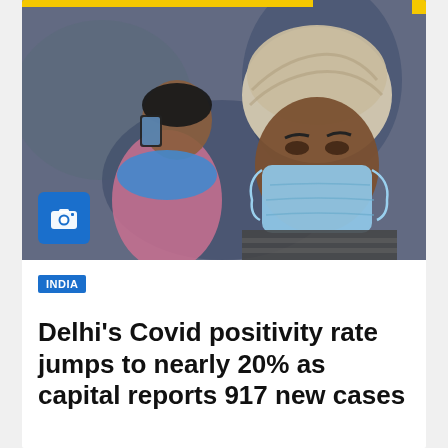[Figure (photo): News article image showing two people: a man wearing a white turban and blue surgical mask in the foreground, and a woman in the background looking at her phone. Context is outdoor, blurred background.]
INDIA
Delhi's Covid positivity rate jumps to nearly 20% as capital reports 917 new cases